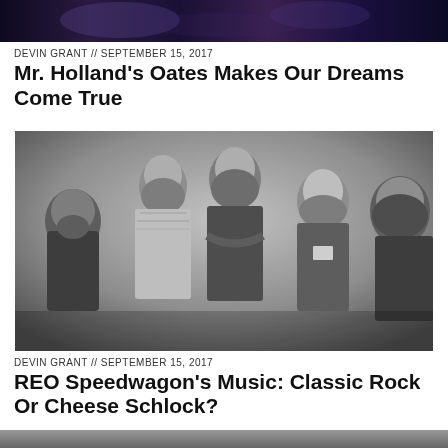[Figure (photo): Partial concert photo cropped at top of page, dark blue/purple tones]
DEVIN GRANT // SEPTEMBER 15, 2017
Mr. Holland's Oates Makes Our Dreams Come True
[Figure (photo): Black and white band photo of REO Speedwagon, five members posing together]
DEVIN GRANT // SEPTEMBER 15, 2017
REO Speedwagon's Music: Classic Rock Or Cheese Schlock?
[Figure (photo): Partial photo cropped at bottom of page]